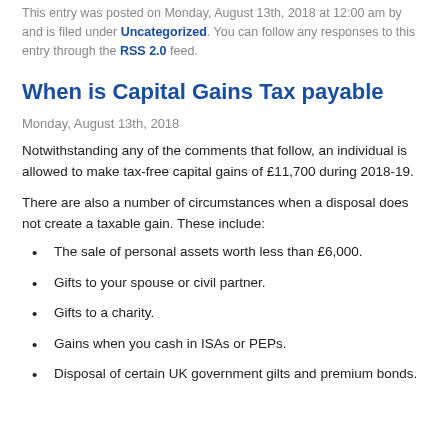This entry was posted on Monday, August 13th, 2018 at 12:00 am by and is filed under Uncategorized. You can follow any responses to this entry through the RSS 2.0 feed.
When is Capital Gains Tax payable
Monday, August 13th, 2018
Notwithstanding any of the comments that follow, an individual is allowed to make tax-free capital gains of £11,700 during 2018-19.
There are also a number of circumstances when a disposal does not create a taxable gain. These include:
The sale of personal assets worth less than £6,000.
Gifts to your spouse or civil partner.
Gifts to a charity.
Gains when you cash in ISAs or PEPs.
Disposal of certain UK government gilts and premium bonds.